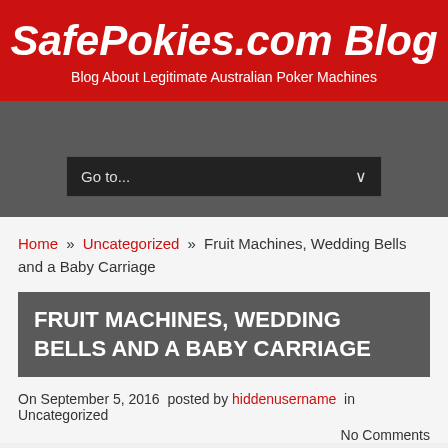SafePokies.com Blog — Blog About Legitimate Australian Poker Machines
[Figure (screenshot): Navigation dropdown selector showing 'Go to...' with down arrow on dark gray background]
Home » Uncategorized » Fruit Machines, Wedding Bells and a Baby Carriage
FRUIT MACHINES, WEDDING BELLS AND A BABY CARRIAGE
On September 5, 2016 posted by hiddenusername in Uncategorized
No Comments